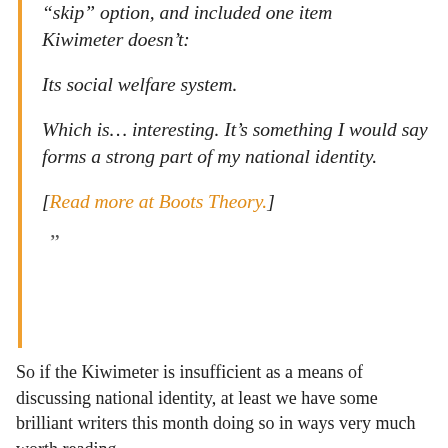“skip” option, and included one item Kiwimeter doesn’t:

Its social welfare system.

Which is… interesting. It’s something I would say forms a strong part of my national identity.

[Read more at Boots Theory.]

”
So if the Kiwimeter is insufficient as a means of discussing national identity, at least we have some brilliant writers this month doing so in ways very much worth reading.